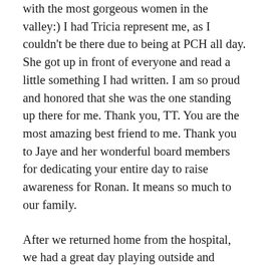with the most gorgeous women in the valley:) I had Tricia represent me, as I couldn't be there due to being at PCH all day. She got up in front of everyone and read a little something I had written. I am so proud and honored that she was the one standing up there for me. Thank you, TT. You are the most amazing best friend to me. Thank you to Jaye and her wonderful board members for dedicating your entire day to raise awareness for Ronan. It means so much to our family.
After we returned home from the hospital, we had a great day playing outside and around the house. Ronan is feeling so great and it is days like yesterday that keep me going. Yesterday, I watched my baby play and act just like a normal 3-year-old who doesn't have cancer. He was acting like his old self and was so happy and sweet. Days like yesterday don't happen very often anymore but when they do, they mean so